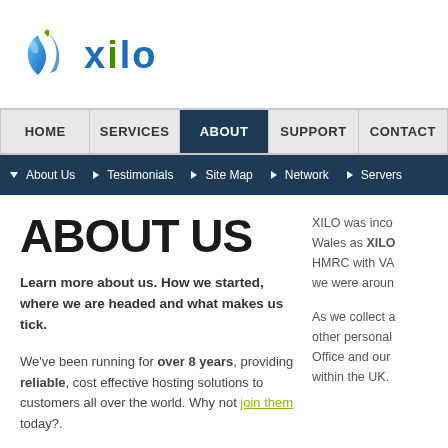[Figure (logo): Xilo logo with blue flame/water droplet icon and 'xilo' text in blue with green dot on letter i]
HOME | SERVICES | ABOUT | SUPPORT | CONTACT
About Us | Testimonials | Site Map | Network | Servers
ABOUT US
Learn more about us. How we started, where we are headed and what makes us tick.
We've been running for over 8 years, providing reliable, cost effective hosting solutions to customers all over the world. Why not join them today?.
XILO was inco Wales as XILO HMRC with VA we were aroun
As we collect a other personal Office and our within the UK.